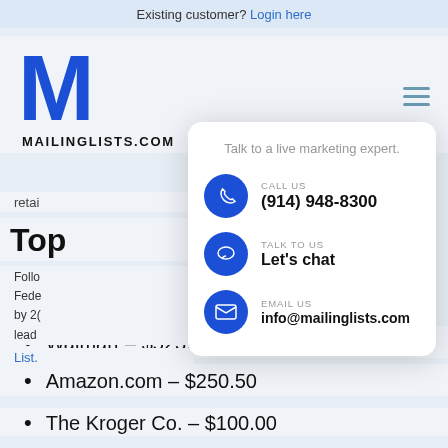Existing customer? Login here
[Figure (logo): MailingLists.com logo - large blue M lettermark with MAILINGLISTS.COM text below]
retai
Top
Follo
Fede
by 2(
lead
List.
[Figure (infographic): Contact dropdown overlay card with: Talk to a live marketing expert. CALL US (914) 948-8300. TALK TO US Let's chat. EMAIL US info@mailinglists.com]
Walmart – $523.96
Amazon.com – $250.50
The Kroger Co. – $100.00 (partial)